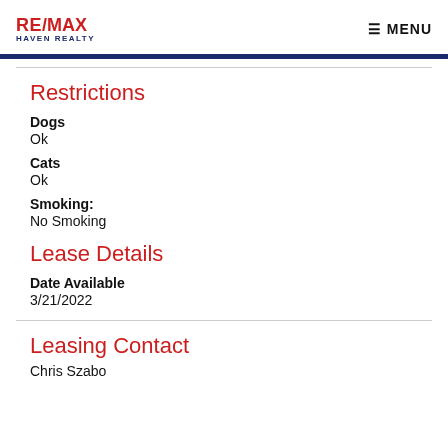RE/MAX HAVEN REALTY | MENU
Restrictions
Dogs
Ok
Cats
Ok
Smoking:
No Smoking
Lease Details
Date Available
3/21/2022
Leasing Contact
Chris Szabo